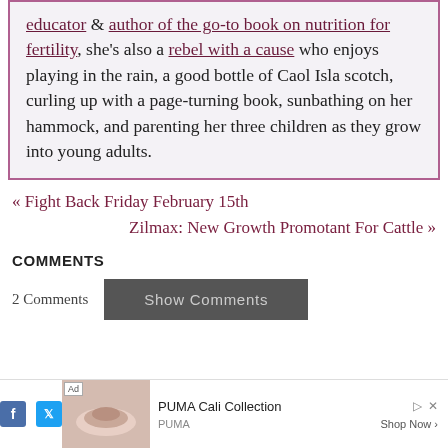educator & author of the go-to book on nutrition for fertility, she's also a rebel with a cause who enjoys playing in the rain, a good bottle of Caol Isla scotch, curling up with a page-turning book, sunbathing on her hammock, and parenting her three children as they grow into young adults.
« Fight Back Friday February 15th
Zilmax: New Growth Promotant For Cattle »
COMMENTS
2 Comments   Show Comments
[Figure (screenshot): Ad bar at bottom: PUMA Cali Collection advertisement with shoe image, Ad label, brand name PUMA, and Shop Now button]